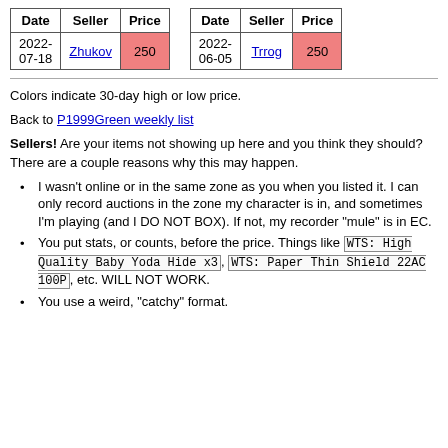| Date | Seller | Price |
| --- | --- | --- |
| 2022-07-18 | Zhukov | 250 |
| Date | Seller | Price |
| --- | --- | --- |
| 2022-06-05 | Trrog | 250 |
Colors indicate 30-day high or low price.
Back to P1999Green weekly list
Sellers! Are your items not showing up here and you think they should? There are a couple reasons why this may happen.
I wasn't online or in the same zone as you when you listed it. I can only record auctions in the zone my character is in, and sometimes I'm playing (and I DO NOT BOX). If not, my recorder "mule" is in EC.
You put stats, or counts, before the price. Things like WTS: High Quality Baby Yoda Hide x3, WTS: Paper Thin Shield 22AC 100P, etc. WILL NOT WORK.
You use a weird, "catchy" format.